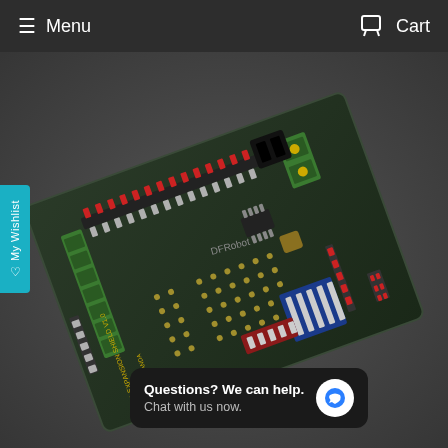≡ Menu    🛒 Cart
[Figure (photo): DFRobot IO Expansion Shield for LattePanda circuit board, showing green screw terminals, red and blue pin headers, black PCB with gold through-holes, power connectors, and various electronic components on a dark grey surface.]
Questions? We can help. Chat with us now.